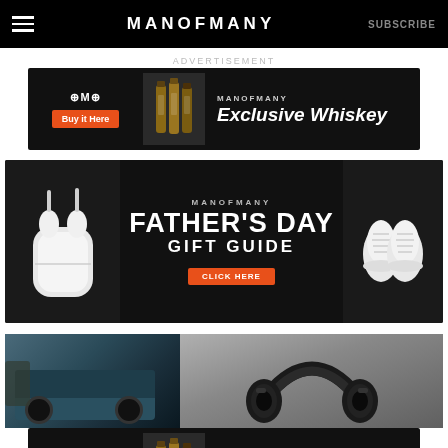MANOFMANY | SUBSCRIBE
ADVERTISEMENT
[Figure (infographic): Man of Many Exclusive Whiskey advertisement banner with Buy it Here button, whiskey bottles, and brand text on black background]
[Figure (infographic): Man of Many Father's Day Gift Guide advertisement banner featuring AirPods on left, sneakers on right, with CLICK HERE button on black background]
[Figure (photo): Split content image showing a vehicle scene on the left and black over-ear headphones on the right against grey background]
[Figure (infographic): Man of Many Exclusive Whiskey advertisement banner at bottom with Buy it Here button, whiskey bottles, and brand text on black background]